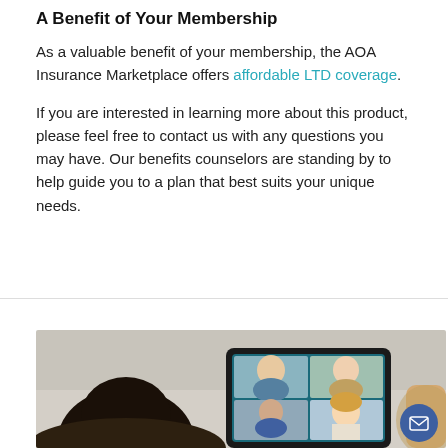A Benefit of Your Membership
As a valuable benefit of your membership, the AOA Insurance Marketplace offers affordable LTD coverage.
If you are interested in learning more about this product, please feel free to contact us with any questions you may have. Our benefits counselors are standing by to help guide you to a plan that best suits your unique needs.
[Figure (photo): Photo showing people in a video conference call on a tablet device, viewed from behind one participant; the tablet screen shows a family group video call.]